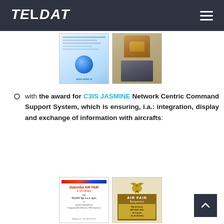TELDAT (logo) — navigation menu
[Figure (photo): Two images side by side: a certificate with blue globe graphic and an award trophy on dark stone base]
with the award for C3IS JASMINE Network Centric Command Support System, which is ensuring, i.a.: integration, display and exchange of information with aircrafts:
[Figure (photo): Two images side by side: an Air Fair 2nd degree certificate with red header and an Air Fair Bydgoszcz eagle trophy award]